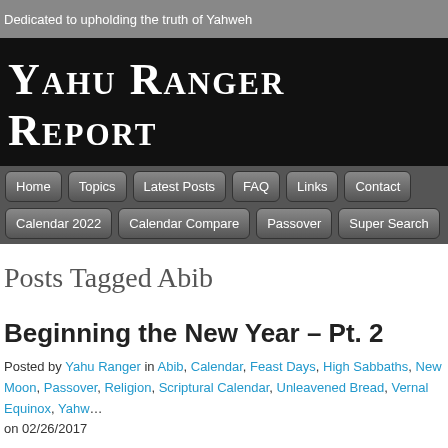Dedicated to upholding the truth of Yahweh
Yahu Ranger Report
Home  Topics  Latest Posts  FAQ  Links  Contact  Calendar 2022  Calendar Compare  Passover  Super Search
Posts Tagged Abib
Beginning the New Year – Pt. 2
Posted by Yahu Ranger in Abib, Calendar, Feast Days, High Sabbaths, New Moon, Passover, Religion, Scriptural Calendar, Unleavened Bread, Vernal Equinox, Yahw... on 02/26/2017